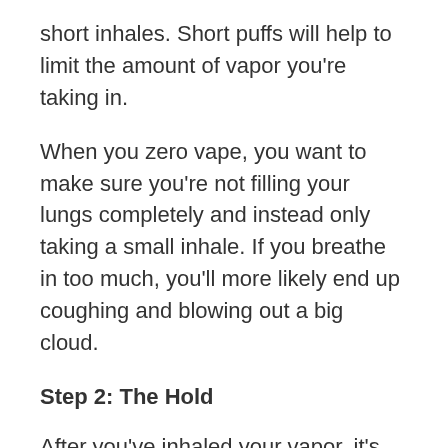short inhales. Short puffs will help to limit the amount of vapor you're taking in.
When you zero vape, you want to make sure you're not filling your lungs completely and instead only taking a small inhale. If you breathe in too much, you'll more likely end up coughing and blowing out a big cloud.
Step 2: The Hold
After you've inhaled your vapor, it's time to hold it for a few extra seconds instead of immediately exhaling. As a rule, the longer you hold your breath, the less vapor will come out.
During this hold, you can use one of the two